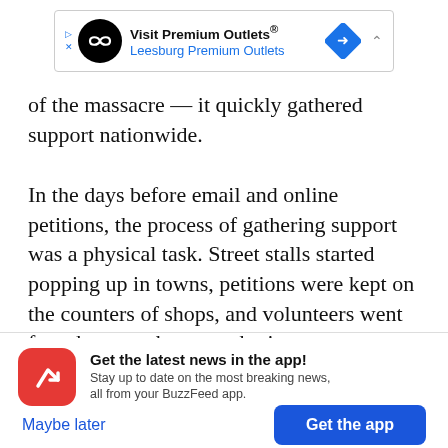[Figure (other): Advertisement banner for 'Visit Premium Outlets® Leesburg Premium Outlets' with a black circular logo featuring an infinity-like symbol, a blue direction sign icon, and a collapse arrow.]
of the massacre — it quickly gathered support nationwide.
In the days before email and online petitions, the process of gathering support was a physical task. Street stalls started popping up in towns, petitions were kept on the counters of shops, and volunteers went from house to house gathering names.
[Figure (other): BuzzFeed app promotion banner with red circular icon showing a white trending arrow, bold text 'Get the latest news in the app!' and subtext 'Stay up to date on the most breaking news, all from your BuzzFeed app.' with 'Maybe later' and 'Get the app' buttons.]